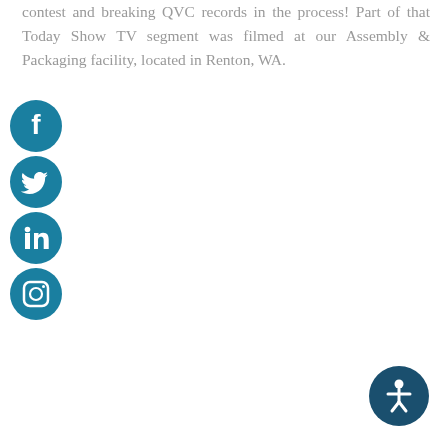contest and breaking QVC records in the process! Part of that Today Show TV segment was filmed at our Assembly & Packaging facility, located in Renton, WA.
[Figure (illustration): Four social media icon buttons stacked vertically: Facebook (f), Twitter (bird), LinkedIn (in), Instagram (camera/circle), all in teal/dark blue circle style]
[Figure (illustration): Accessibility button icon in bottom-right corner: dark teal speech bubble circle containing a white person/accessibility symbol]